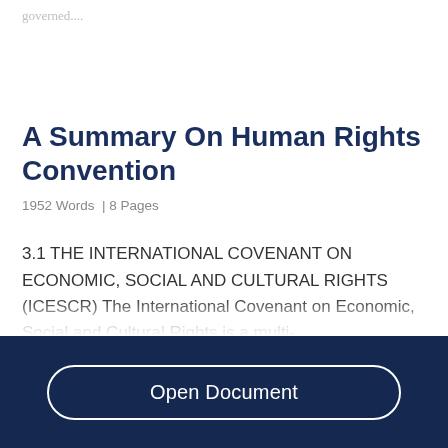governed....
A Summary On Human Rights Convention
1952 Words  | 8 Pages
3.1 THE INTERNATIONAL COVENANT ON ECONOMIC, SOCIAL AND CULTURAL RIGHTS (ICESCR) The International Covenant on Economic, Social and Cultural Rights is a multi-
Open Document